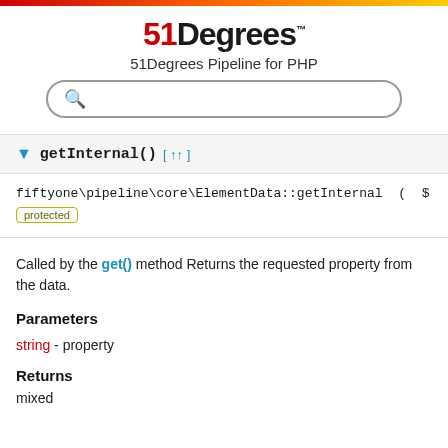51Degrees Pipeline for PHP
getInternal() [↑↑]
fiftyone\pipeline\core\ElementData::getInternal ( $ protected
Called by the get() method Returns the requested property from the data.
Parameters
string - property
Returns
mixed